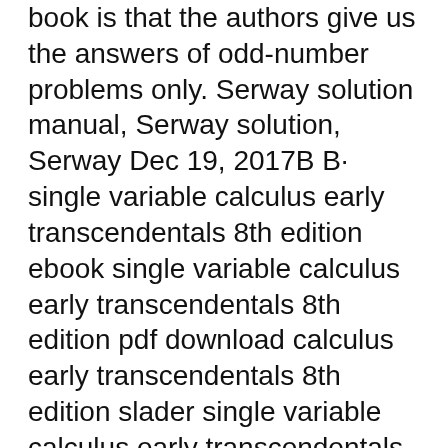book is that the authors give us the answers of odd-number problems only. Serway solution manual, Serway solution, Serway Dec 19, 2017B B· single variable calculus early transcendentals 8th edition ebook single variable calculus early transcendentals 8th edition pdf download calculus early transcendentals 8th edition slader single variable calculus early transcendentals 7th edition single variable calculus stewart pdf james stewart calculus early transcendentals 8th edition
This manual contains completely worked-out solutions for all the odd-